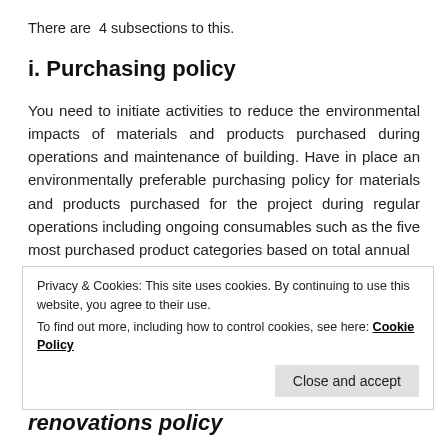There are  4 subsections to this.
i. Purchasing policy
You need to initiate activities to reduce the environmental impacts of materials and products purchased during operations and maintenance of building. Have in place an environmentally preferable purchasing policy for materials and products purchased for the project during regular operations including ongoing consumables such as the five most purchased product categories based on total annual
Privacy & Cookies: This site uses cookies. By continuing to use this website, you agree to their use.
To find out more, including how to control cookies, see here: Cookie Policy
renovations policy